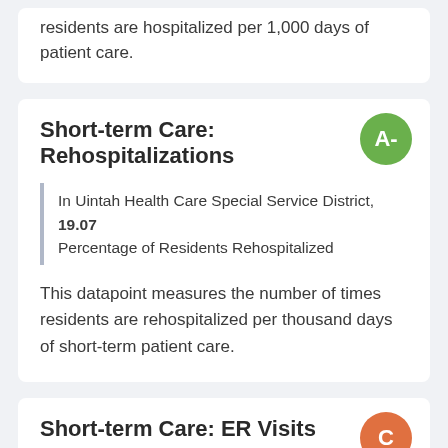residents are hospitalized per 1,000 days of patient care.
Short-term Care: Rehospitalizations
In Uintah Health Care Special Service District, 19.07 Percentage of Residents Rehospitalized
This datapoint measures the number of times residents are rehospitalized per thousand days of short-term patient care.
Short-term Care: ER Visits
In Uintah Health Care Special Service District, 10.59 Percentage of Patients
This metric measures the number of emergency